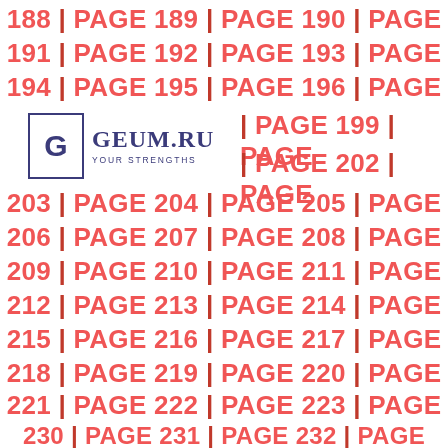188 | PAGE 189 | PAGE 190 | PAGE 191 | PAGE 192 | PAGE 193 | PAGE 194 | PAGE 195 | PAGE 196 | PAGE 199 | PAGE 202 | PAGE 203 | PAGE 204 | PAGE 205 | PAGE 206 | PAGE 207 | PAGE 208 | PAGE 209 | PAGE 210 | PAGE 211 | PAGE 212 | PAGE 213 | PAGE 214 | PAGE 215 | PAGE 216 | PAGE 217 | PAGE 218 | PAGE 219 | PAGE 220 | PAGE 221 | PAGE 222 | PAGE 223 | PAGE 224 | PAGE 225 | PAGE 226 | PAGE 227 | PAGE 228 | PAGE 229 | PAGE 230 | PAGE 231 | PAGE 232 | PAGE
[Figure (logo): GEUM.RU logo with a stylized G in a rectangular box and tagline YOUR STRENGTHS]